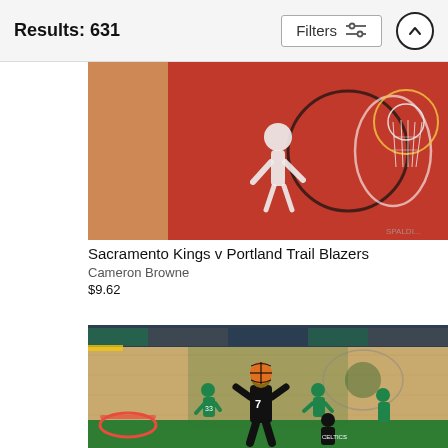Results: 631
Filters
[Figure (photo): Aerial/top-down view of a basketball game, Sacramento Kings v Portland Trail Blazers, showing a player dunking near the basket on a red court]
Sacramento Kings v Portland Trail Blazers
Cameron Browne
$9.62
[Figure (photo): Basketball game photo, a Brooklyn Nets player (#7) driving to the basket in a game against the Boston Celtics on a green and wood-floor court]